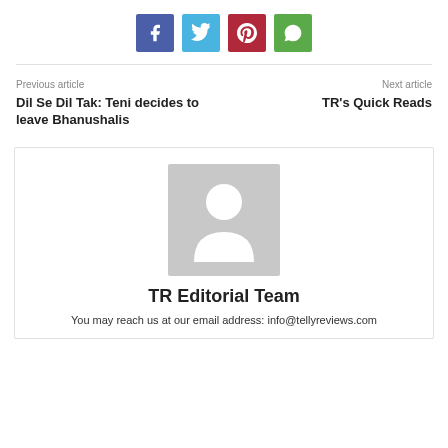[Figure (infographic): Social media share buttons: Facebook (blue-purple), Twitter (light blue), Pinterest (dark red), WhatsApp (green)]
Previous article
Next article
Dil Se Dil Tak: Teni decides to leave Bhanushalis
TR's Quick Reads
[Figure (photo): Default user avatar placeholder — grey square with white silhouette of a person]
TR Editorial Team
You may reach us at our email address: info@tellyreviews.com